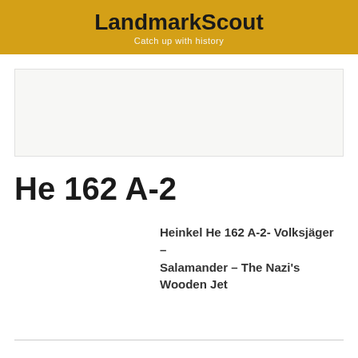LandmarkScout
Catch up with history
[Figure (photo): Image placeholder area with light gray background]
He 162 A-2
Heinkel He 162 A-2- Volksjäger – Salamander – The Nazi's Wooden Jet